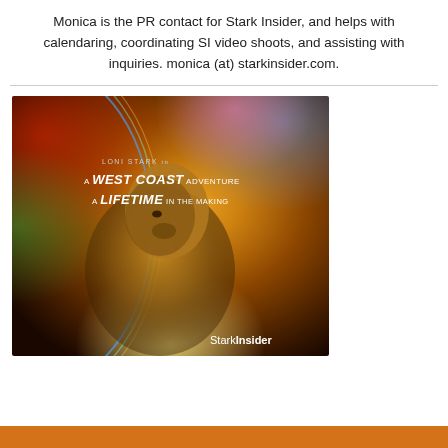Monica is the PR contact for Stark Insider, and helps with calendaring, coordinating SI video shoots, and assisting with inquiries. monica (at) starkinsider.com.
[Figure (illustration): Movie poster style image for 'A West Coast Adventure: A Lifetime in the Making' featuring Loni Stark. Background is a cosmic swirl of orange, yellow, red, blue and green colors with a figure visible in the center. Text reads: LONI STARK in / A WEST COAST ADVENTURE / A LIFETIME IN THE MAKING. StarkInsider logo in bottom right.]